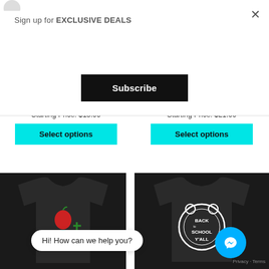Sign up for EXCLUSIVE DEALS
Subscribe
ADULT T-Shirt & Long Sleeve 802600
Starting Price: $15.00
Select options
Shirt & Long Sleeve 802510
Starting Price: $21.00
Select options
[Figure (photo): Black t-shirt with apple and plus sign graphic]
[Figure (photo): Black t-shirt with Back to School Y'all graphic]
Hi! How can we help you?
Privacy · Terms